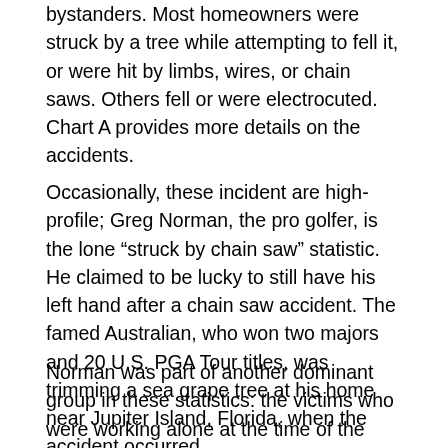bystanders. Most homeowners were struck by a tree while attempting to fell it, or were hit by limbs, wires, or chain saws. Others fell or were electrocuted. Chart A provides more details on the accidents.
Occasionally, these incident are high-profile; Greg Norman, the pro golfer, is the lone “struck by chain saw” statistic. He claimed to be lucky to still have his left hand after a chain saw accident. The famed Australian, who won two majors and 20 U.S. PGA Tour titles, was trimming a sea grape tree at his home near Jupiter Island, Florida, when the accident occurred.
Norman was part of another dominant group in these statistics: the victims who were working alone at the time of the accident. In two-thirds of all cases where it could be determined, the victims undertook hazardous tree work